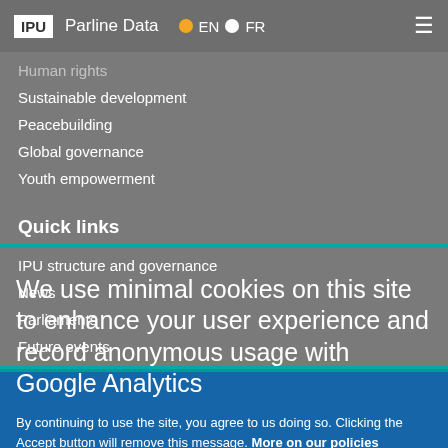IPU | Parline Data | EN | FR
Human rights
Sustainable development
Peacebuilding
Global governance
Youth empowerment
Quick links
IPU structure and governance
News
Parliaments
Future events
We use minimal cookies on this site to enhance your user experience and record anonymous usage with Google Analytics
By continuing to use the site, you agree to us doing so. Clicking the Accept button will remove this message. More on our policies